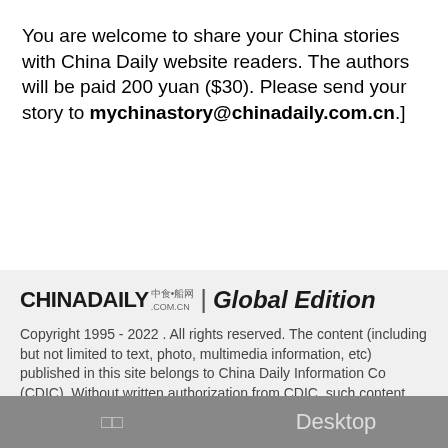You are welcome to share your China stories with China Daily website readers. The authors will be paid 200 yuan ($30). Please send your story to mychinastory@chinadaily.com.cn.]
[Figure (logo): China Daily logo with Chinese characters and .com.cn, followed by '| Global Edition' text]
Copyright 1995 - 2022 . All rights reserved. The content (including but not limited to text, photo, multimedia information, etc) published in this site belongs to China Daily Information Co (CDIC). Without written authorization from CDIC, such content shall not be republished or used in any form. Note: Browsers with 1024*768 or higher resolution are suggested for this site.
□□   Desktop